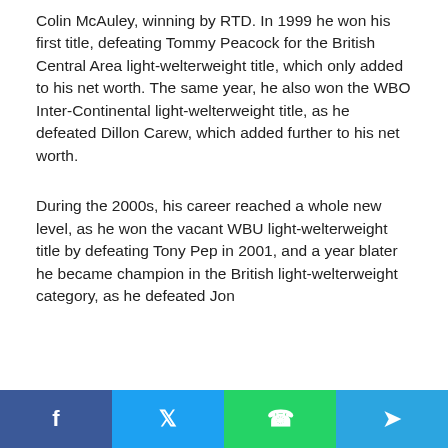Colin McAuley, winning by RTD. In 1999 he won his first title, defeating Tommy Peacock for the British Central Area light-welterweight title, which only added to his net worth. The same year, he also won the WBO Inter-Continental light-welterweight title, as he defeated Dillon Carew, which added further to his net worth.
During the 2000s, his career reached a whole new level, as he won the vacant WBU light-welterweight title by defeating Tony Pep in 2001, and a year blater he became champion in the British light-welterweight category, as he defeated Jon